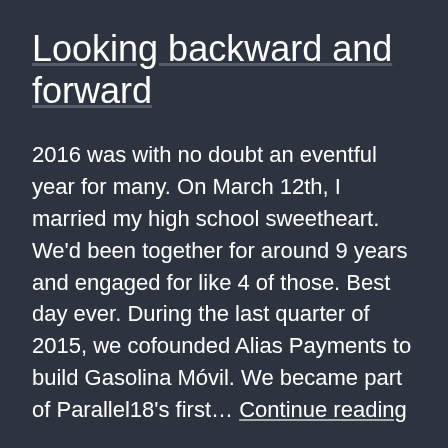Looking backward and forward
2016 was with no doubt an eventful year for many. On March 12th, I married my high school sweetheart. We'd been together for around 9 years and engaged for like 4 of those. Best day ever. During the last quarter of 2015, we cofounded Alias Payments to build Gasolina Móvil. We became part of Parallel18's first… Continue reading